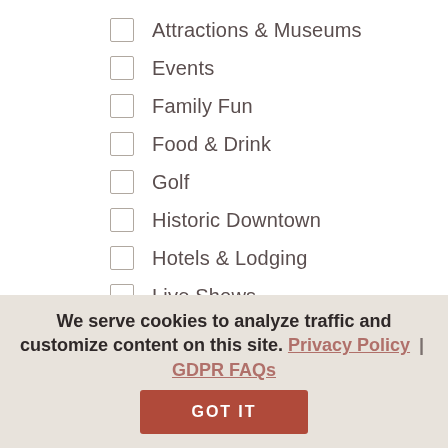Attractions & Museums
Events
Family Fun
Food & Drink
Golf
Historic Downtown
Hotels & Lodging
Live Shows
We serve cookies to analyze traffic and customize content on this site. Privacy Policy | GDPR FAQs
GOT IT